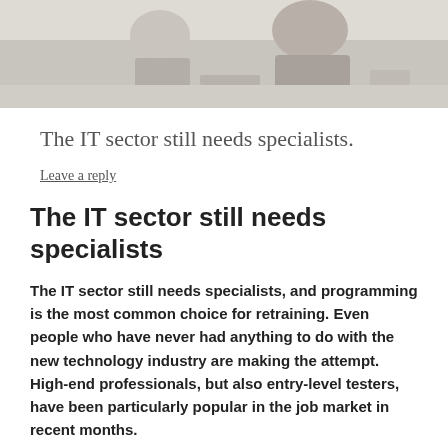[Figure (photo): Partial photo of people at a desk, cropped at top of page]
The IT sector still needs specialists.
Leave a reply
The IT sector still needs specialists
The IT sector still needs specialists, and programming is the most common choice for retraining. Even people who have never had anything to do with the new technology industry are making the attempt. High-end professionals, but also entry-level testers, have been particularly popular in the job market in recent months.
The coronavirus pandemic has forced many to redefine their